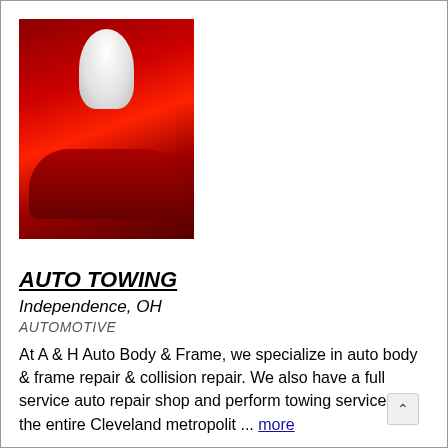[Figure (photo): Photo of a person in a white racing suit leaning over a red sports car]
AUTO TOWING
Independence, OH
AUTOMOTIVE
At A & H Auto Body & Frame, we specialize in auto body & frame repair & collision repair. We also have a full service auto repair shop and perform towing services for the entire Cleveland metropolit ... more
Rating: 5.0 ★★★★★ (2 Ratings)
Member Since: 05-Mar-1997
Sales: 170